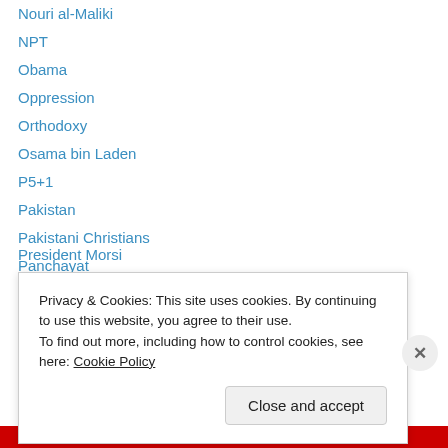Nouri al-Maliki
NPT
Obama
Oppression
Orthodoxy
Osama bin Laden
P5+1
Pakistan
Pakistani Christians
Panchayat
Partition
PK
Port Said
President Morsi
Privacy & Cookies: This site uses cookies. By continuing to use this website, you agree to their use.
To find out more, including how to control cookies, see here: Cookie Policy
Close and accept